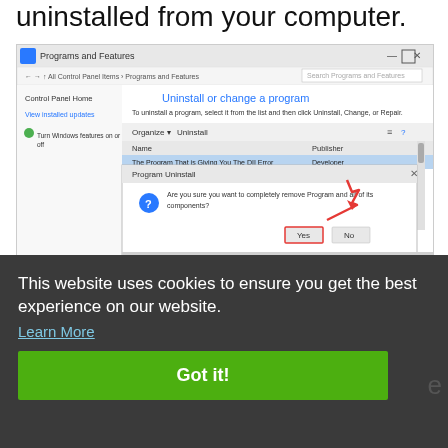uninstalled from your computer.
[Figure (screenshot): Windows Programs and Features dialog showing 'Uninstall or change a program' with a Program Uninstall confirmation dialog box asking 'Are you sure you want to completely remove Program and all of its components?' with Yes and No buttons, and a red arrow pointing to the Yes button.]
This website uses cookies to ensure you get the best experience on our website.
Learn More
Got it!